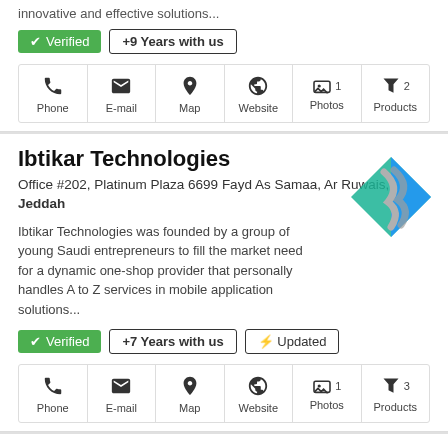innovative and effective solutions...
Verified | +9 Years with us
Phone | E-mail | Map | Website | 1 Photos | 2 Products
Ibtikar Technologies
Office #202, Platinum Plaza 6699 Fayd As Samaa, Ar Ruwais, Jeddah
Ibtikar Technologies was founded by a group of young Saudi entrepreneurs to fill the market need for a dynamic one-shop provider that personally handles A to Z services in mobile application solutions...
Verified | +7 Years with us | Updated
Phone | E-mail | Map | Website | 1 Photos | 3 Products
Attar Software Engineering